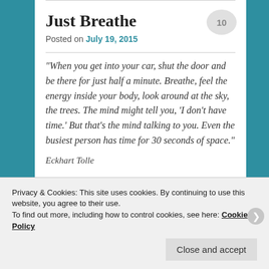Just Breathe
Posted on July 19, 2015
“When you get into your car, shut the door and be there for just half a minute. Breathe, feel the energy inside your body, look around at the sky, the trees. The mind might tell you, ‘I don’t have time.’ But that’s the mind talking to you. Even the busiest person has time for 30 seconds of space.”
Eckhart Tolle
Privacy & Cookies: This site uses cookies. By continuing to use this website, you agree to their use.
To find out more, including how to control cookies, see here: Cookie Policy